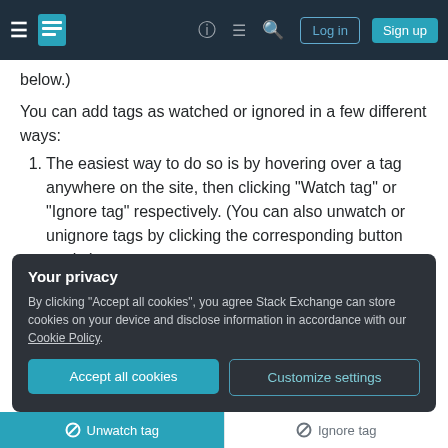Stack Exchange navigation bar with Log in and Sign up buttons
below.)
You can add tags as watched or ignored in a few different ways:
1. The easiest way to do so is by hovering over a tag anywhere on the site, then clicking "Watch tag" or "Ignore tag" respectively. (You can also unwatch or unignore tags by clicking the corresponding button again.)
[Figure (screenshot): Tags row showing 'discussion', 'tags' pills and 'Edit tags' link with a tooltip popup]
Your privacy
By clicking "Accept all cookies", you agree Stack Exchange can store cookies on your device and disclose information in accordance with our Cookie Policy.
Accept all cookies | Customize settings
Unwatch tag | Ignore tag